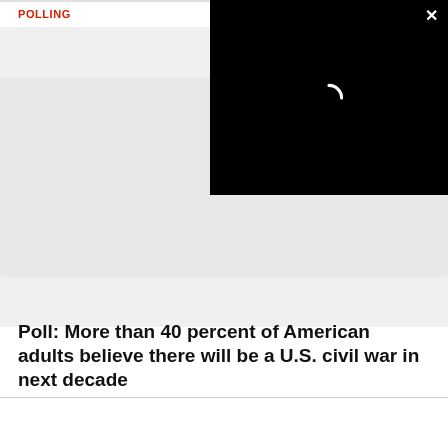POLLING
[Figure (screenshot): Black video player overlay with loading spinner and close (×) button in top right corner, overlaid on top of a blurred/greyed article image area]
Poll: More than 40 percent of American adults believe there will be a U.S. civil war in next decade